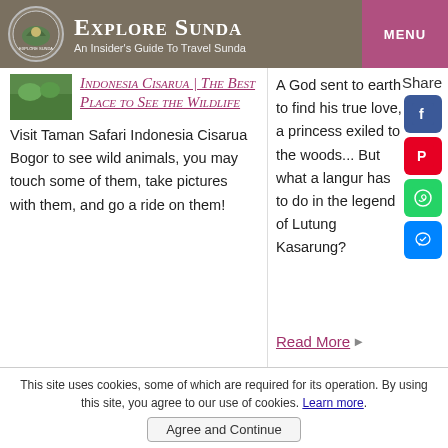Explore Sunda — An Insider's Guide To Travel Sunda
[Figure (screenshot): Small thumbnail image of wildlife/greenery]
Indonesia Cisarua | The Best Place to See the Wildlife
Visit Taman Safari Indonesia Cisarua Bogor to see wild animals, you may touch some of them, take pictures with them, and go a ride on them!
A God sent to earth to find his true love, a princess exiled to the woods... But what a langur has to do in the legend of Lutung Kasarung?
Read More
This site uses cookies, some of which are required for its operation. By using this site, you agree to our use of cookies. Learn more.
Agree and Continue